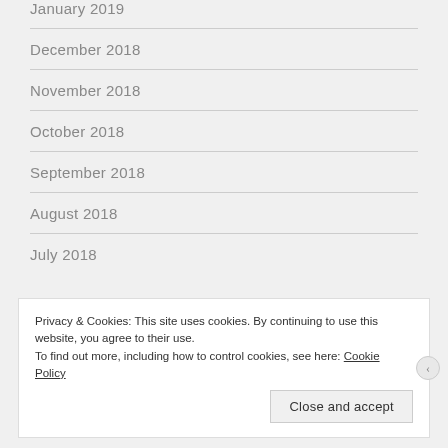January 2019
December 2018
November 2018
October 2018
September 2018
August 2018
July 2018
Privacy & Cookies: This site uses cookies. By continuing to use this website, you agree to their use.
To find out more, including how to control cookies, see here: Cookie Policy
Close and accept